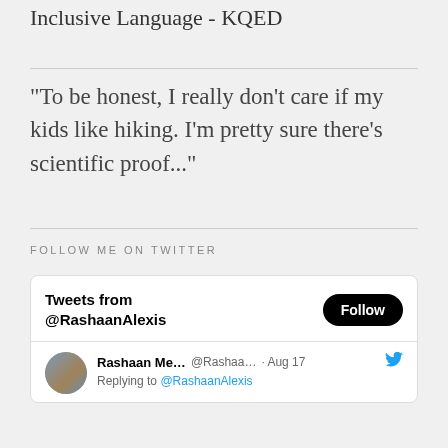Inclusive Language - KQED
“To be honest, I really don’t care if my kids like hiking. I’m pretty sure there’s scientific proof…”
FOLLOW ME ON TWITTER
[Figure (screenshot): Twitter widget showing Tweets from @RashaanAlexis with a Follow button. A tweet from Rashaan Me... @Rashaa... Aug 17 replying to @RashaanAlexis is shown with a profile avatar and Twitter bird icon.]